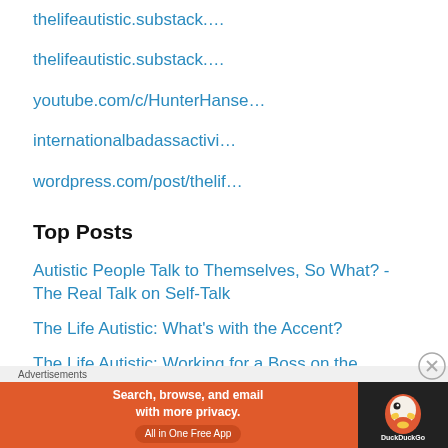thelifeautistic.substack.…
thelifeautistic.substack.…
youtube.com/c/HunterHanse…
internationalbadassactivi…
wordpress.com/post/thelif…
Top Posts
Autistic People Talk to Themselves, So What? - The Real Talk on Self-Talk
The Life Autistic: What's with the Accent?
The Life Autistic: Working for a Boss on the Spectrum
Advertisements
[Figure (other): DuckDuckGo advertisement banner: 'Search, browse, and email with more privacy. All in One Free App' with DuckDuckGo logo on dark background.]